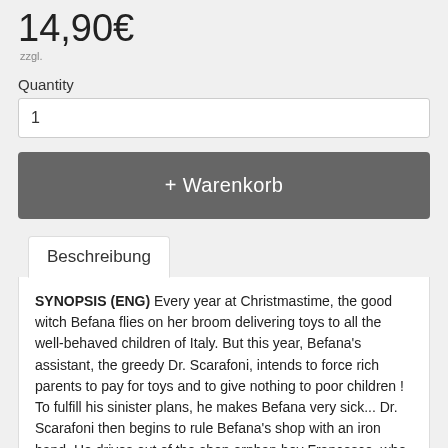14,90€
Quantity
1
+ Warenkorb
Beschreibung
SYNOPSIS (ENG) Every year at Christmastime, the good witch Befana flies on her broom delivering toys to all the well-behaved children of Italy. But this year, Befana's assistant, the greedy Dr. Scarafoni, intends to force rich parents to pay for toys and to give nothing to poor children ! To fulfill his sinister plans, he makes Befana very sick... Dr. Scarafoni then begins to rule Befana's shop with an iron hand. He drives out of the shop orphan boy Francesco, who was staring bedazzled at The Blue Arrow, a wonderful wooden train... Outraged, the toys decide to escape : they climb onto The Blue Arrow train which starts rolling, rolling away from Dr. Scarafoni ! Their aim is to go and give themselves to the children they were meant for. Spicciola, a special toy dog, makes a wish that his nose will lead him to Francesco. Francesco is accused of stealing the missing toys and arrested. Meanwhile, the toys on the Blue Arrow